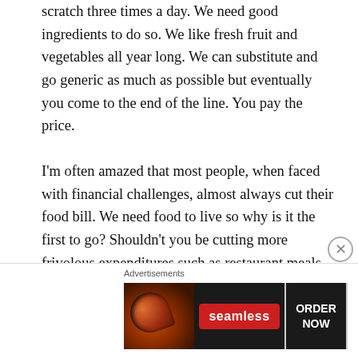scratch three times a day. We need good ingredients to do so. We like fresh fruit and vegetables all year long. We can substitute and go generic as much as possible but eventually you come to the end of the line. You pay the price.
I'm often amazed that most people, when faced with financial challenges, almost always cut their food bill. We need food to live so why is it the first to go? Shouldn't you be cutting more frivolous expenditures such as restaurant meals out, take-away fast food, pizza deliveries, gourmet items, designer clothes, expensive vacations, luxury car payments and the like?
[Figure (other): Seamless food delivery advertisement banner with pizza image on left, Seamless logo in center on red background, and ORDER NOW button on right with dark background]